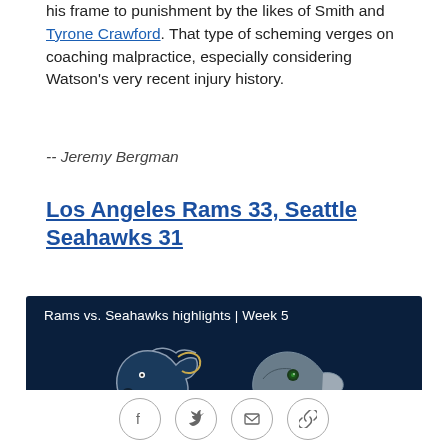his frame to punishment by the likes of Smith and Tyrone Crawford. That type of scheming verges on coaching malpractice, especially considering Watson's very recent injury history.
-- Jeremy Bergman
Los Angeles Rams 33, Seattle Seahawks 31
[Figure (screenshot): Video thumbnail showing Rams vs. Seahawks highlights | Week 5 with team logos on dark navy background and a play button]
[Figure (other): Social sharing icons: Facebook, Twitter, Email, Link]